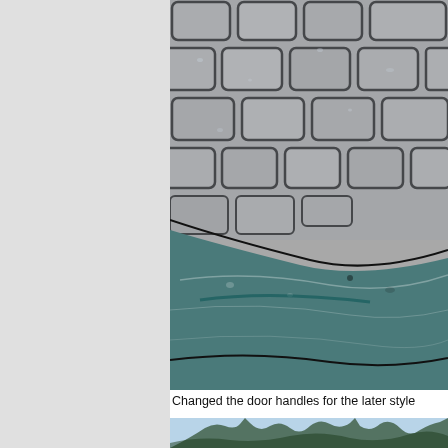[Figure (photo): Close-up photo of a wet cobblestone surface with a teal/green car door handle visible in the lower portion. Water droplets and rain cover both the stones and the car's surface.]
Changed the door handles for the later style
[Figure (photo): Partial photo at the bottom of the page showing what appears to be trees or branches against a light sky.]